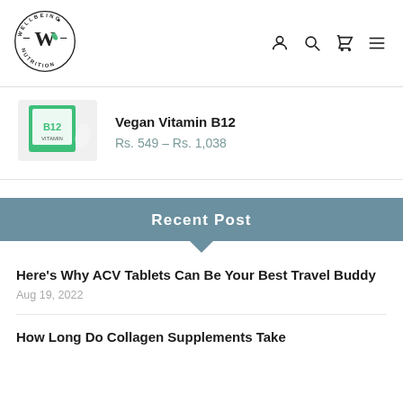[Figure (logo): Wellbeing Nutrition logo — circular badge with W in center]
[Figure (illustration): Header icons: user account, search, cart, hamburger menu]
[Figure (photo): Product image of Vegan Vitamin B12 supplement box]
Vegan Vitamin B12
Rs. 549 – Rs. 1,038
Recent Post
Here's Why ACV Tablets Can Be Your Best Travel Buddy
Aug 19, 2022
How Long Do Collagen Supplements Take